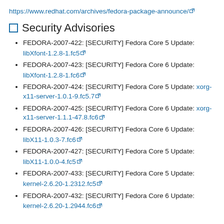https://www.redhat.com/archives/fedora-package-announce/
Security Advisories
FEDORA-2007-422: [SECURITY] Fedora Core 5 Update: libXfont-1.2.8-1.fc5
FEDORA-2007-423: [SECURITY] Fedora Core 6 Update: libXfont-1.2.8-1.fc6
FEDORA-2007-424: [SECURITY] Fedora Core 5 Update: xorg-x11-server-1.0.1-9.fc5.7
FEDORA-2007-425: [SECURITY] Fedora Core 6 Update: xorg-x11-server-1.1.1-47.8.fc6
FEDORA-2007-426: [SECURITY] Fedora Core 6 Update: libX11-1.0.3-7.fc6
FEDORA-2007-427: [SECURITY] Fedora Core 5 Update: libX11-1.0.0-4.fc5
FEDORA-2007-433: [SECURITY] Fedora Core 5 Update: kernel-2.6.20-1.2312.fc5
FEDORA-2007-432: [SECURITY] Fedora Core 6 Update: kernel-2.6.20-1.2944.fc6